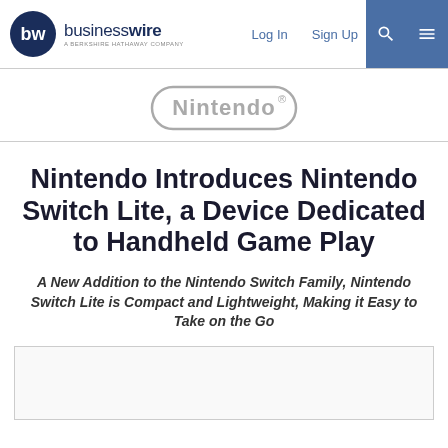businesswire — A Berkshire Hathaway Company | Log In | Sign Up
[Figure (logo): Nintendo logo — rounded rectangle outline with 'Nintendo' wordmark in gray]
Nintendo Introduces Nintendo Switch Lite, a Device Dedicated to Handheld Game Play
A New Addition to the Nintendo Switch Family, Nintendo Switch Lite is Compact and Lightweight, Making it Easy to Take on the Go
[Figure (photo): Image placeholder box at bottom of page]